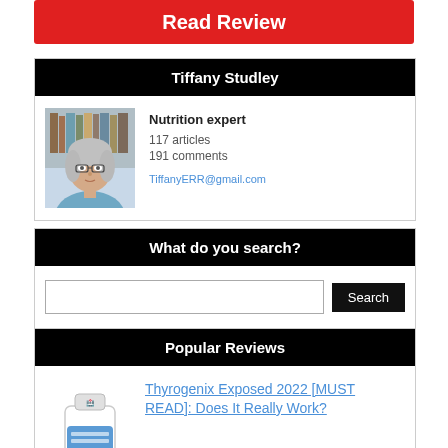[Figure (other): Red button labeled Read Review]
Tiffany Studley
[Figure (photo): Photo of Tiffany Studley, a woman with gray hair and glasses]
Nutrition expert
117 articles
191 comments
TiffanyERR@gmail.com
What do you search?
Search
Popular Reviews
[Figure (photo): Product bottle image for Thyrogenix]
Thyrogenix Exposed 2022 [MUST READ]: Does It Really Work?